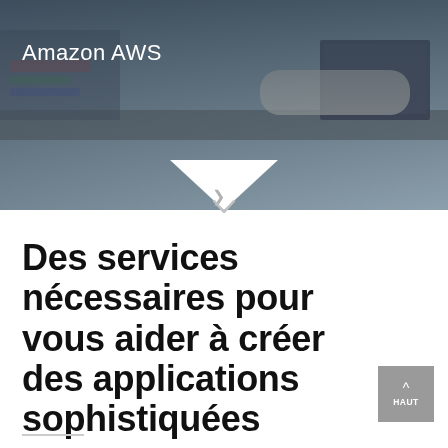[Figure (photo): Person working on a laptop in a data center / server room environment, with 'Amazon AWS' text overlay in white on the upper left.]
Des services nécessaires pour vous aider à créer des applications sophistiquées